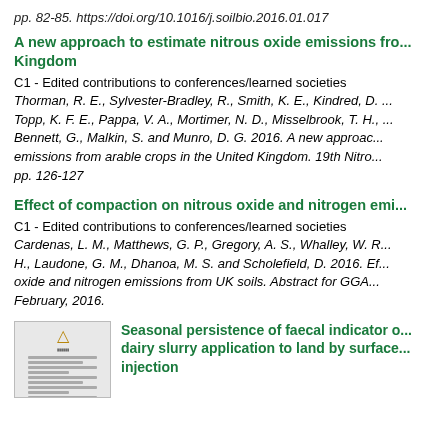pp. 82-85. https://doi.org/10.1016/j.soilbio.2016.01.017
A new approach to estimate nitrous oxide emissions from the United Kingdom
C1 - Edited contributions to conferences/learned societies
Thorman, R. E., Sylvester-Bradley, R., Smith, K. E., Kindred, D. ..., Topp, K. F. E., Pappa, V. A., Mortimer, N. D., Misselbrook, T. H., ..., Bennett, G., Malkin, S. and Munro, D. G. 2016. A new approach ... emissions from arable crops in the United Kingdom. 19th Nitro... pp. 126-127
Effect of compaction on nitrous oxide and nitrogen emissions
C1 - Edited contributions to conferences/learned societies
Cardenas, L. M., Matthews, G. P., Gregory, A. S., Whalley, W. R..., H., Laudone, G. M., Dhanoa, M. S. and Scholefield, D. 2016. Effect of compaction on nitrous oxide and nitrogen emissions from UK soils. Abstract for GGAA..., February, 2016.
[Figure (other): Thumbnail image of a document page]
Seasonal persistence of faecal indicator organisms following dairy slurry application to land by surface spreading and injection